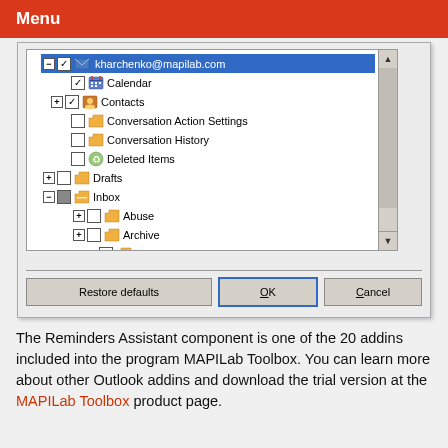Menu
[Figure (screenshot): Windows dialog box showing a folder tree with checkboxes for selecting mail folders including kharchenko@mapilab.com, Calendar, Contacts, Conversation Action Settings, Conversation History, Deleted Items, Drafts, Inbox (expanded with subfolders Abuse, Archive, Done, Office, Prices, Renew, Submit, Testimonials). Buttons at bottom: Restore defaults, OK, Cancel.]
The Reminders Assistant component is one of the 20 addins included into the program MAPILab Toolbox. You can learn more about other Outlook addins and download the trial version at the MAPILab Toolbox product page.